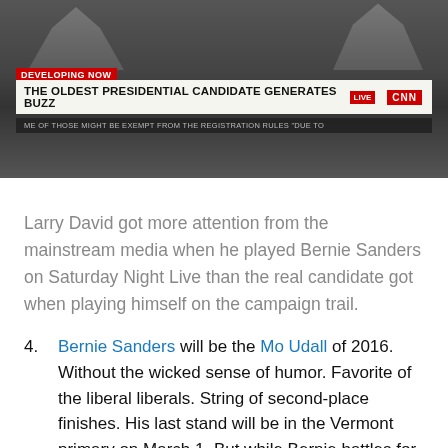[Figure (screenshot): CNN news screenshot with banner reading 'THE OLDEST PRESIDENTIAL CANDIDATE GENERATES BUZZ' and DEVELOPING NOW label, two figures visible in background]
Larry David got more attention from the mainstream media when he played Bernie Sanders on Saturday Night Live than the real candidate got when playing himself on the campaign trail.
4. Bernie Sanders will be the Mo Udall of 2016. Without the wicked sense of humor. Favorite of the liberal liberals. String of second-place finishes. His last stand will be in the Vermont primary on March 1. But while Bernie battles for his home state's 15 delegates chosen in the primary, Hillary Clinton will take something like 207 of the 208 Texas delegates up for grabs that